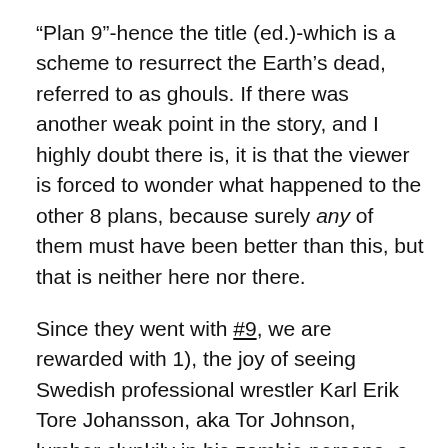“Plan 9”-hence the title (ed.)-which is a scheme to resurrect the Earth’s dead, referred to as ghouls. If there was another weak point in the story, and I highly doubt there is, it is that the viewer is forced to wonder what happened to the other 8 plans, because surely any of them must have been better than this, but that is neither here nor there.
Since they went with #9, we are rewarded with 1), the joy of seeing Swedish professional wrestler Karl Erik Tore Johansson, aka Tor Johnson, lumber clunkily in his zombie persona, a real highlight of the film because that’s how zombies move, and, more importantly, Bela Lugosi (yes, that one), who wasn’t technically “present” for the shooting of the film. Mr. Lugosi, despite the handicap of having succumbed to a heart attack and the dastardly side affects of his morphine and methadone addictions, masterfully conveys a zombie/ghoul/vampire/dead